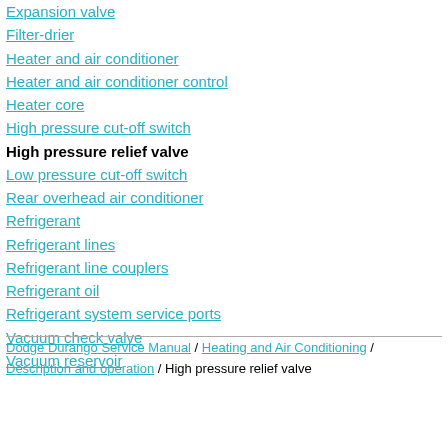Expansion valve
Filter-drier
Heater and air conditioner
Heater and air conditioner control
Heater core
High pressure cut-off switch
High pressure relief valve
Low pressure cut-off switch
Rear overhead air conditioner
Refrigerant
Refrigerant lines
Refrigerant line couplers
Refrigerant oil
Refrigerant system service ports
Vacuum check valve
Vacuum reservoir
Dodge Durango Service Manual / Heating and Air Conditioning / Description and operation / High pressure relief valve